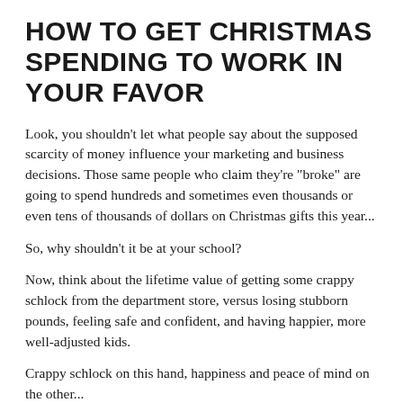HOW TO GET CHRISTMAS SPENDING TO WORK IN YOUR FAVOR
Look, you shouldn't let what people say about the supposed scarcity of money influence your marketing and business decisions. Those same people who claim they're "broke" are going to spend hundreds and sometimes even thousands or even tens of thousands of dollars on Christmas gifts this year...
So, why shouldn't it be at your school?
Now, think about the lifetime value of getting some crappy schlock from the department store, versus losing stubborn pounds, feeling safe and confident, and having happier, more well-adjusted kids.
Crappy schlock on this hand, happiness and peace of mind on the other...